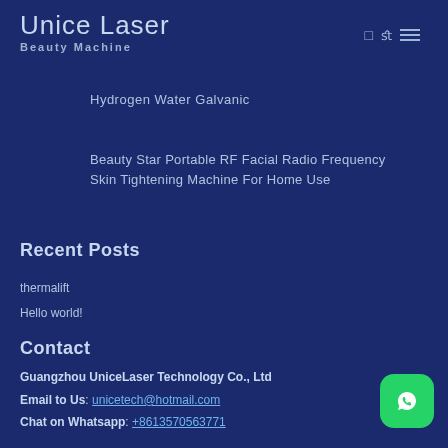Unice Laser Beauty Machine
Hydrogen Water Galvanic
Beauty Star Portable RF Facial Radio Frequency Skin Tightening Machine For Home Use
Recent Posts
thermalift
Hello world!
Contact
Guangzhou UniceLaser Technology Co., Ltd
Email to Us: unicetech@hotmail.com
Chat on Whatsapp: +8613570563771